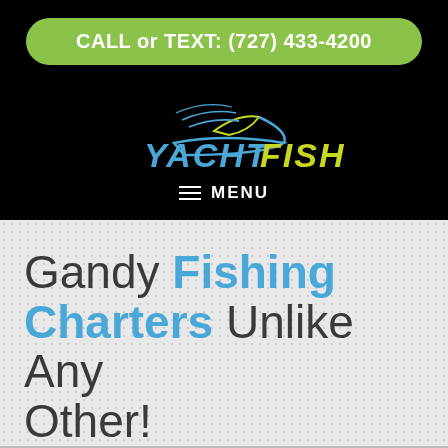CALL or TEXT: (727) 433-4200
[Figure (logo): YachtFish logo with stylized boat graphic in blue and yellow-green on black background]
MENU
Gandy Fishing Charters Unlike Any Other!
The Experience of a Lifetime